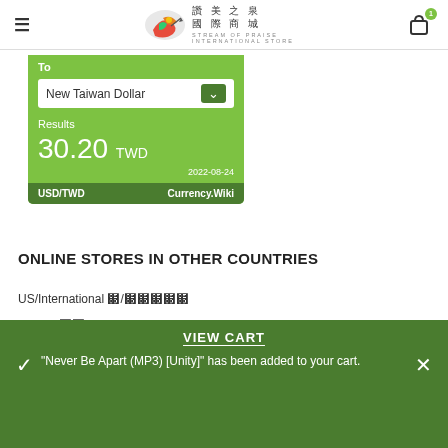≡  讚美之泉 國際商城 STREAM OF PRAISE INTERNATIONAL STORE  [cart icon with badge 1]
[Figure (screenshot): Currency converter widget showing 'To: New Taiwan Dollar' dropdown, Results: 30.20 TWD, date 2022-08-24, footer: USD/TWD  Currency.Wiki]
ONLINE STORES IN OTHER COUNTRIES
US/International 美/國際
Taiwan 台灣
VIEW CART
"Never Be Apart (MP3) [Unity]" has been added to your cart.